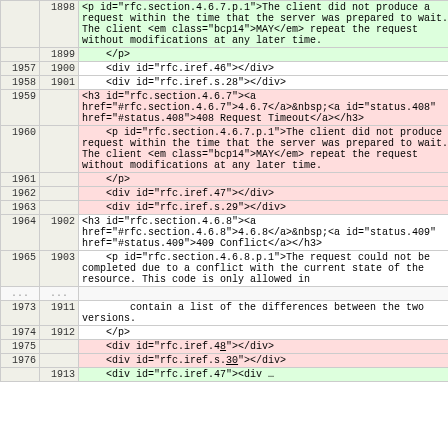| left_line | right_line | code |
| --- | --- | --- |
|  | 1898 | <p id="rfc.section.4.6.7.p.1">The client did not produce a request within the time that the server was prepared to wait. The client <em class="bcp14">MAY</em> repeat the request without modifications at any later time. |
|  | 1899 |     </p> |
| 1957 | 1900 |     <div id="rfc.iref.46"></div> |
| 1958 | 1901 |     <div id="rfc.iref.s.28"></div> |
| 1959 |  | <h3 id="rfc.section.4.6.7"><a href="#rfc.section.4.6.7">4.6.7</a>&nbsp;<a id="status.408" href="#status.408">408 Request Timeout</a></h3> |
| 1960 |  |       <p id="rfc.section.4.6.7.p.1">The client did not produce a request within the time that the server was prepared to wait. The client <em class="bcp14">MAY</em> repeat the request without modifications at any later time. |
| 1961 |  |       </p> |
| 1962 |  |       <div id="rfc.iref.47"></div> |
| 1963 |  |       <div id="rfc.iref.s.29"></div> |
| 1964 | 1902 | <h3 id="rfc.section.4.6.8"><a href="#rfc.section.4.6.8">4.6.8</a>&nbsp;<a id="status.409" href="#status.409">409 Conflict</a></h3> |
| 1965 | 1903 |       <p id="rfc.section.4.6.8.p.1">The request could not be completed due to a conflict with the current state of the resource. This code is only allowed in |
| ... | ... |  |
| 1973 | 1911 |         contain a list of the differences between the two versions. |
| 1974 | 1912 |       </p> |
| 1975 |  |     <div id="rfc.iref.48"></div> |
| 1976 |  |     <div id="rfc.iref.s.30"></div> |
|  | 1913 |     <div id="rfc.iref.47"></div> |